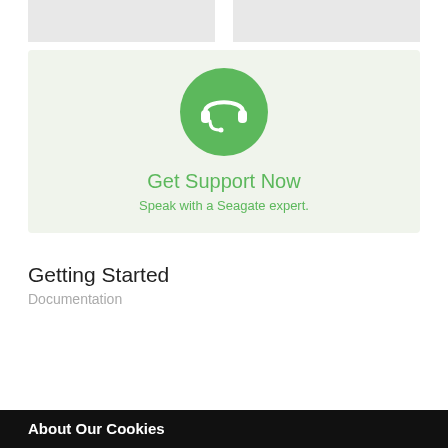[Figure (other): Two gray placeholder card boxes side by side at top of page]
[Figure (infographic): Green support card with headset icon, title 'Get Support Now' and subtitle 'Speak with a Seagate expert.']
Getting Started
Documentation
About Our Cookies